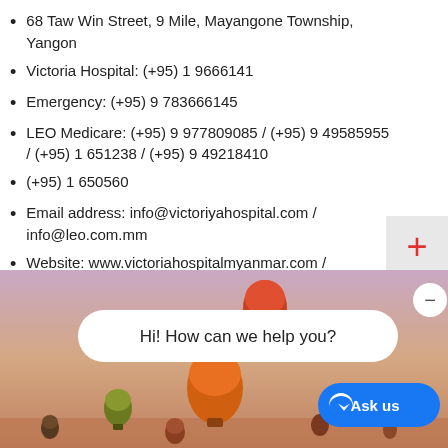68 Taw Win Street, 9 Mile, Mayangone Township, Yangon
Victoria Hospital: (+95) 1 9666141
Emergency: (+95) 9 783666145
LEO Medicare: (+95) 9 977809085 / (+95) 9 49585955 / (+95) 1 651238 / (+95) 9 49218410
(+95) 1 650560
Email address: info@victoriyahospital.com / info@leo.com.mm
Website: www.victoriahospitalmyanmar.com / www.leo-healthcare.com
[Figure (photo): Hot air balloons floating in a warm sunset sky, with a chat interface overlay showing 'Hi! How can we help you?' message bubble, a minimize button, and a blue 'Ask us' Messenger button.]